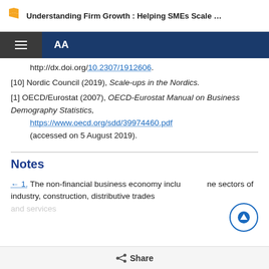Understanding Firm Growth : Helping SMEs Scale …
http://dx.doi.org/10.2307/1912606.
[10] Nordic Council (2019), Scale-ups in the Nordics.
[1] OECD/Eurostat (2007), OECD-Eurostat Manual on Business Demography Statistics, https://www.oecd.org/sdd/39974460.pdf (accessed on 5 August 2019).
Notes
← 1. The non-financial business economy includes the sectors of industry, construction, distributive trades and services...
Share